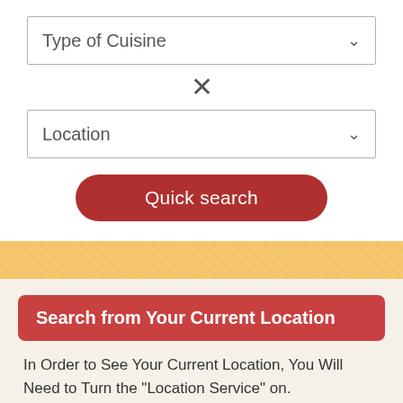[Figure (screenshot): Dropdown selector labeled 'Type of Cuisine' with a chevron on the right]
×
[Figure (screenshot): Dropdown selector labeled 'Location' with a chevron on the right]
[Figure (screenshot): Red rounded button labeled 'Quick search']
Search from Your Current Location
In Order to See Your Current Location, You Will Need to Turn the "Location Service" on.
List of restaurants with coupons